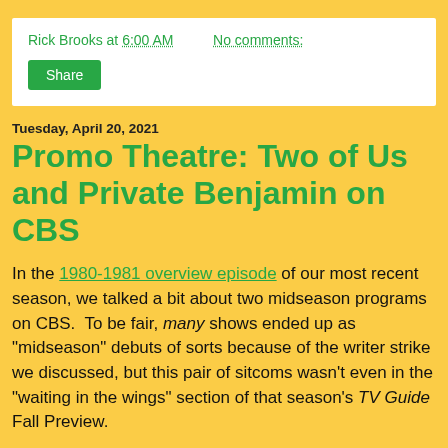Rick Brooks at 6:00 AM    No comments:
Share
Tuesday, April 20, 2021
Promo Theatre: Two of Us and Private Benjamin on CBS
In the 1980-1981 overview episode of our most recent season, we talked a bit about two midseason programs on CBS. To be fair, many shows ended up as "midseason" debuts of sorts because of the writer strike we discussed, but this pair of sitcoms wasn't even in the "waiting in the wings" section of that season's TV Guide Fall Preview.
Here is a vintage promo for the shows: